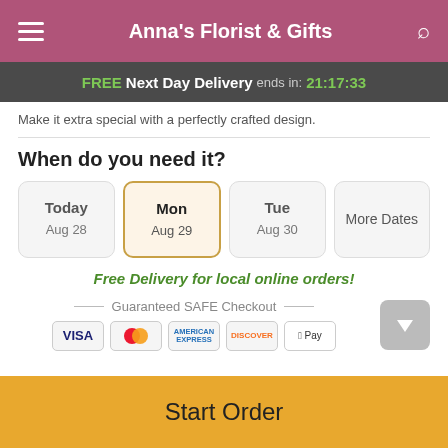Anna's Florist & Gifts
FREE Next Day Delivery ends in: 21:17:33
Make it extra special with a perfectly crafted design.
When do you need it?
Today Aug 28
Mon Aug 29
Tue Aug 30
More Dates
Free Delivery for local online orders!
Guaranteed SAFE Checkout
Start Order